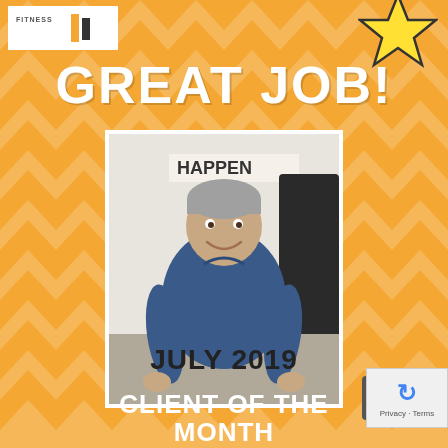[Figure (logo): Fitness brand logo with text FITNESS and orange/black bars]
[Figure (illustration): Yellow star icon in top right corner]
GREAT JOB!
[Figure (photo): Man in blue t-shirt smiling in a gym, sign reading HAPPEN visible in background]
JULY 2019
CLIENT OF THE MONTH